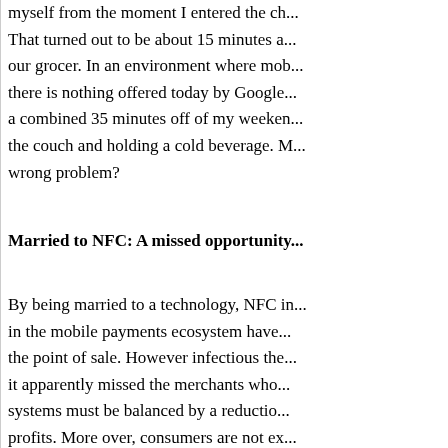myself from the moment I entered the ch... That turned out to be about 15 minutes a... our grocer. In an environment where mob... there is nothing offered today by Google... a combined 35 minutes off of my weeken... the couch and holding a cold beverage. M... wrong problem?
Married to NFC: A missed opportunity
By being married to a technology, NFC in... in the mobile payments ecosystem have... the point of sale. However infectious the... it apparently missed the merchants who... systems must be balanced by a reductio... profits. More over, consumers are not ex... with their smartphones. To add to this, th... interoperability, scarcity of NFC-enabled...
Google has maintained that Google Wall... (to current stakeholders) will not expect...